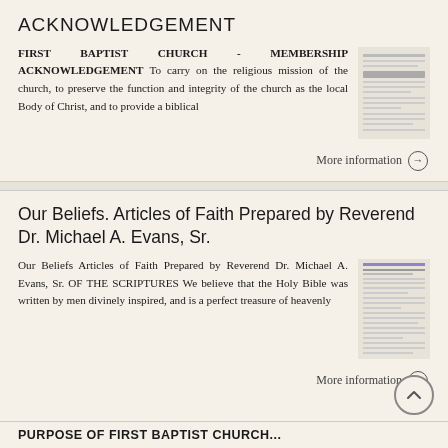ACKNOWLEDGEMENT
FIRST BAPTIST CHURCH - MEMBERSHIP ACKNOWLEDGEMENT To carry on the religious mission of the church, to preserve the function and integrity of the church as the local Body of Christ, and to provide a biblical
[Figure (other): Thumbnail image of a document page showing text lines]
More information →
Our Beliefs. Articles of Faith Prepared by Reverend Dr. Michael A. Evans, Sr.
Our Beliefs Articles of Faith Prepared by Reverend Dr. Michael A. Evans, Sr. OF THE SCRIPTURES We believe that the Holy Bible was written by men divinely inspired, and is a perfect treasure of heavenly
[Figure (other): Thumbnail image of Articles of Faith document]
More information →
PURPOSE OF FIRST BAPTIST CHURCH...